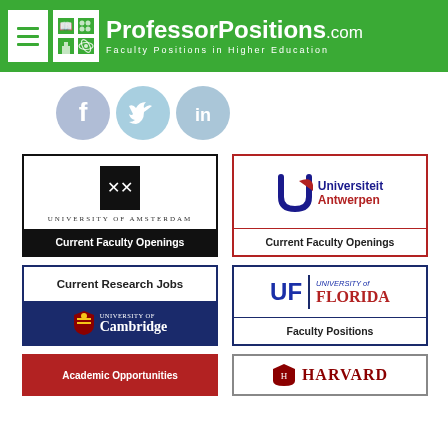ProfessorPositions.com — Faculty Positions in Higher Education
[Figure (logo): Social media icons: Facebook, Twitter, LinkedIn]
[Figure (logo): University of Amsterdam — Current Faculty Openings card]
[Figure (logo): Universiteit Antwerpen — Current Faculty Openings card]
[Figure (logo): Current Research Jobs / University of Cambridge card]
[Figure (logo): University of Florida — Faculty Positions card]
[Figure (logo): Academic Opportunities card (partial)]
[Figure (logo): Harvard card (partial)]